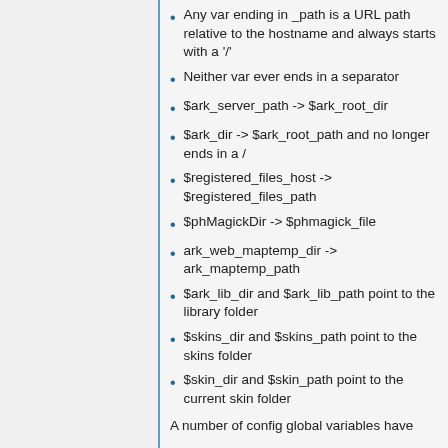Any var ending in _path is a URL path relative to the hostname and always starts with a '/'
Neither var ever ends in a separator
$ark_server_path -> $ark_root_dir
$ark_dir -> $ark_root_path and no longer ends in a /
$registered_files_host -> $registered_files_path
$phMagickDir -> $phmagick_file
ark_web_maptemp_dir -> ark_maptemp_path
$ark_lib_dir and $ark_lib_path point to the library folder
$skins_dir and $skins_path point to the skins folder
$skin_dir and $skin_path point to the current skin folder
A number of config global variables have